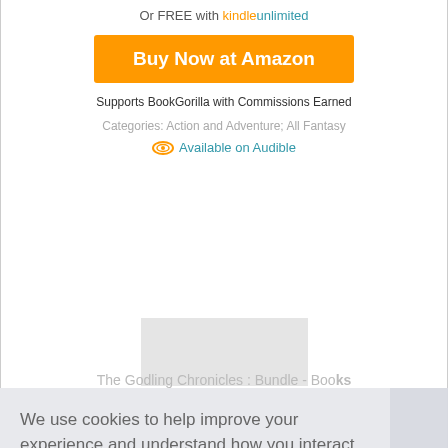Or FREE with kindle unlimited
Buy Now at Amazon
Supports BookGorilla with Commissions Earned
Categories: Action and Adventure; All Fantasy
Available on Audible
[Figure (other): Gray book cover placeholder image]
We use cookies to help improve your experience and understand how you interact with our site. For more information please see our updated
Privacy Policy and Cookie Policy
Don't show this again
The Godling Chronicles : Bundle - Books 1-3